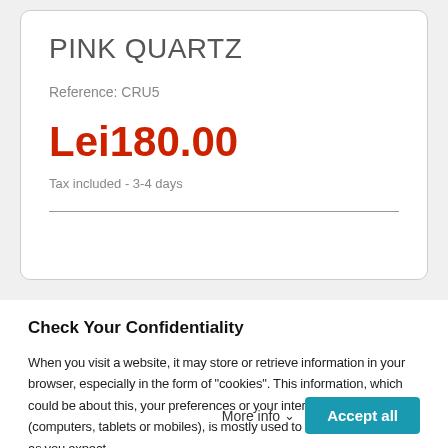PINK QUARTZ
Reference: CRU5
Lei180.00
Tax included  - 3-4 days
Check Your Confidentiality
When you visit a website, it may store or retrieve information in your browser, especially in the form of "cookies". This information, which could be about this, your preferences or your internet device (computers, tablets or mobiles), is mostly used to make the site work as you expect.
More info
Accept all